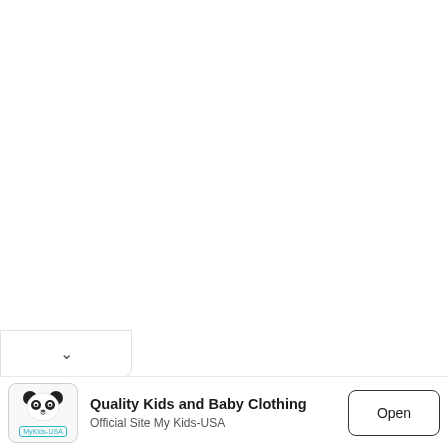[Figure (screenshot): White empty main content area of a webpage]
[Figure (other): Dropdown/collapse tab with chevron down arrow, positioned at bottom-left]
[Figure (other): Advertisement banner: MyKids-USA app ad with panda logo, title 'Quality Kids and Baby Clothing', subtitle 'Official Site My Kids-USA', and an 'Open' button. Ad attribution icons (play triangle and X) in top right.]